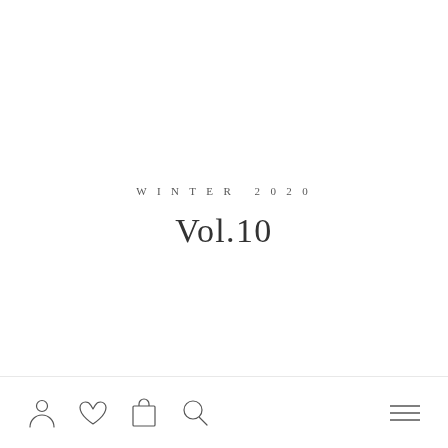WINTER 2020
Vol.10
[Figure (other): Bottom navigation bar with icons: person/account, heart/wishlist, shopping bag/cart, search magnifying glass (left side), and hamburger menu (right side)]